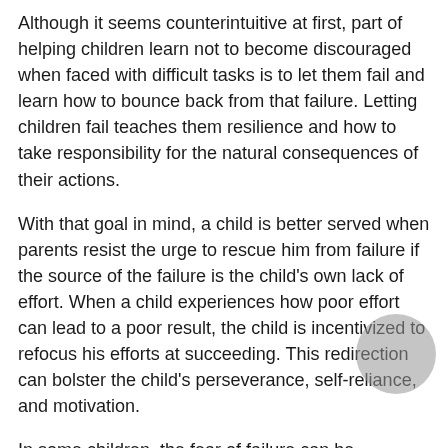Although it seems counterintuitive at first, part of helping children learn not to become discouraged when faced with difficult tasks is to let them fail and learn how to bounce back from that failure. Letting children fail teaches them resilience and how to take responsibility for the natural consequences of their actions.
With that goal in mind, a child is better served when parents resist the urge to rescue him from failure if the source of the failure is the child's own lack of effort. When a child experiences how poor effort can lead to a poor result, the child is incentivized to refocus his efforts at succeeding. This redirection can bolster the child's perseverance, self-reliance, and motivation.
In some children, the fear of failure can be especially daunting. Try lessening these children's fears by explaining that innovators they may admire – from Thomas Edison to Walt Disney to J. K. Rowling – experienced numerous obstacles and failures before succeeding through sustained motivation and perseverance.